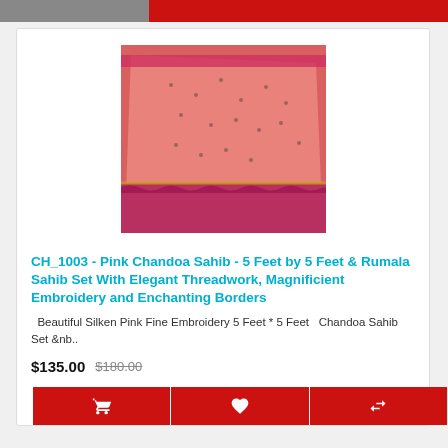[Figure (photo): Pink embroidered Chandoa Sahib textile with ruffled border, product photo]
CH_1003 - Pink Chandoa Sahib - 5 Feet by 5 Feet & Rumala Sahib Set With Elegant Threadwork, Magnificient Embroidery and Enchanting Borders
Beautiful Silken Pink Fine Embroidery 5 Feet * 5 Feet  Chandoa Sahib Set &nb..
$135.00  $180.00